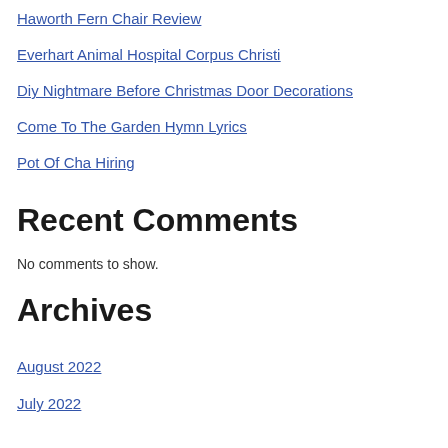Haworth Fern Chair Review
Everhart Animal Hospital Corpus Christi
Diy Nightmare Before Christmas Door Decorations
Come To The Garden Hymn Lyrics
Pot Of Cha Hiring
Recent Comments
No comments to show.
Archives
August 2022
July 2022